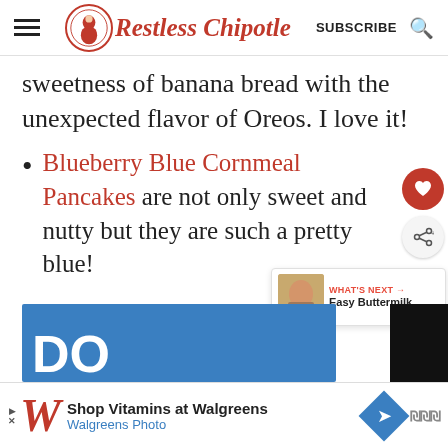Restless Chipotle – SUBSCRIBE
sweetness of banana bread with the unexpected flavor of Oreos. I love it!
Blueberry Blue Cornmeal Pancakes are not only sweet and nutty but they are such a pretty blue!
[Figure (screenshot): Partial blue banner at bottom with large white text 'DO']
[Figure (screenshot): Advertisement bar: Shop Vitamins at Walgreens – Walgreens Photo]